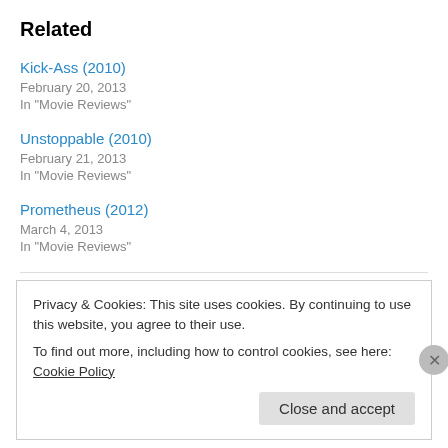Related
Kick-Ass (2010)
February 20, 2013
In "Movie Reviews"
Unstoppable (2010)
February 21, 2013
In "Movie Reviews"
Prometheus (2012)
March 4, 2013
In "Movie Reviews"
Privacy & Cookies: This site uses cookies. By continuing to use this website, you agree to their use.
To find out more, including how to control cookies, see here: Cookie Policy